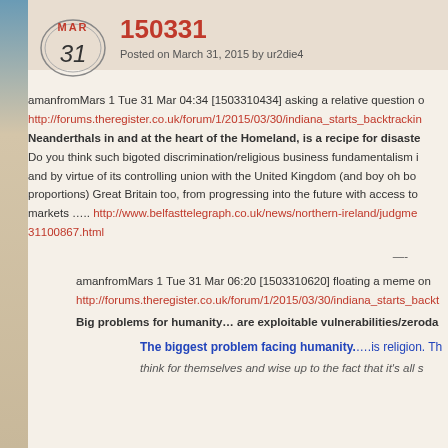[Figure (illustration): Left decorative strip with blue/tan gradient and calendar circle showing MAR 31]
150331
Posted on March 31, 2015 by ur2die4
amanfromMars 1 Tue 31 Mar 04:34 [1503310434] asking a relative question on
http://forums.theregister.co.uk/forum/1/2015/03/30/indiana_starts_backtracking
Neanderthals in and at the heart of the Homeland, is a recipe for disaster. Do you think such bigoted discrimination/religious business fundamentalism i... and by virtue of its controlling union with the United Kingdom (and boy oh boy proportions) Great Britain too, from progressing into the future with access to markets .....
http://www.belfasttelegraph.co.uk/news/northern-ireland/judgme... 31100867.html
—-
amanfromMars 1 Tue 31 Mar 06:20 [1503310620] floating a meme on
http://forums.theregister.co.uk/forum/1/2015/03/30/indiana_starts_backt
Big problems for humanity… are exploitable vulnerabilities/zeroda
The biggest problem facing humanity….is religion. Th...
think for themselves and wise up to the fact that it's all s